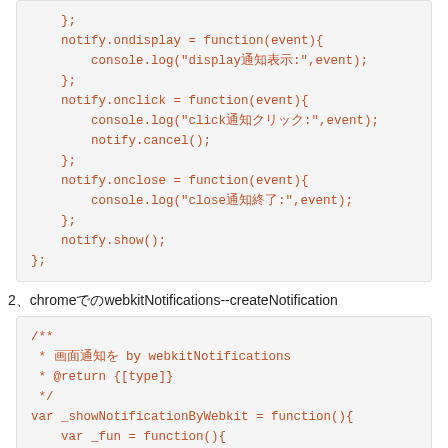[Figure (screenshot): Code block showing JavaScript notify event handlers: notify.ondisplay, notify.onclick with notify.cancel(), notify.onclose, and notify.show()]
2、chromeでのwebkitNotifications--createNotification
[Figure (screenshot): Code block showing JSDoc comment and start of _showNotificationByWebkit function with var _fun = function(){]